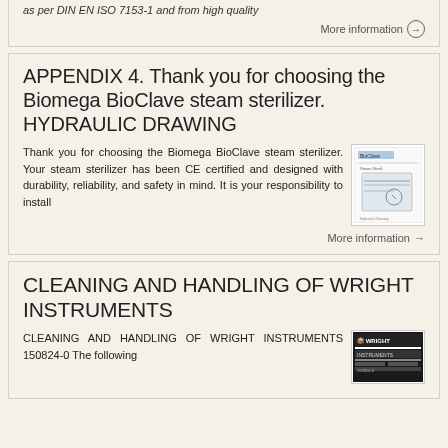as per DIN EN ISO 7153-1 and from high quality
More information →
APPENDIX 4. Thank you for choosing the Biomega BioClave steam sterilizer. HYDRAULIC DRAWING
Thank you for choosing the Biomega BioClave steam sterilizer. Your steam sterilizer has been CE certified and designed with durability, reliability, and safety in mind. It is your responsibility to install
[Figure (photo): Thumbnail image of a document page related to Biomega BioClave sterilizer hydraulic drawing]
More information →
CLEANING AND HANDLING OF WRIGHT INSTRUMENTS
CLEANING AND HANDLING OF WRIGHT INSTRUMENTS 150824-0 The following
[Figure (photo): Thumbnail image of Wright Instruments cleaning and handling document]